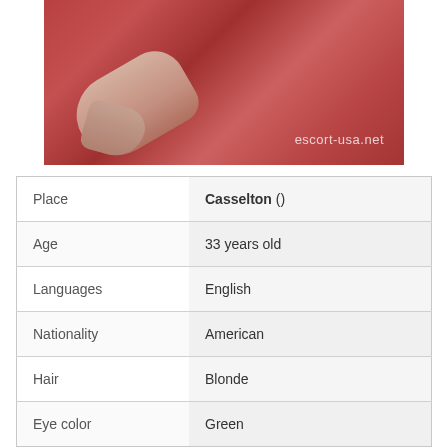[Figure (photo): Photo of a person on a red/pink floral patterned fabric, hand with nails visible. Watermark reads 'escort-usa.net'.]
| Place | Casselton () |
| Age | 33 years old |
| Languages | English |
| Nationality | American |
| Hair | Blonde |
| Eye color | Green |